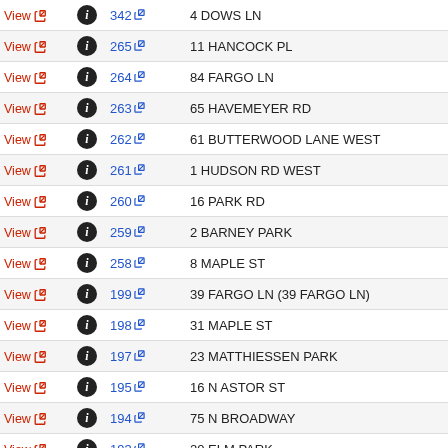| View | Info | ID | Address |
| --- | --- | --- | --- |
| View | i | 342 | 4 DOWS LN |
| View | i | 265 | 11 HANCOCK PL |
| View | i | 264 | 84 FARGO LN |
| View | i | 263 | 65 HAVEMEYER RD |
| View | i | 262 | 61 BUTTERWOOD LANE WEST |
| View | i | 261 | 1 HUDSON RD WEST |
| View | i | 260 | 16 PARK RD |
| View | i | 259 | 2 BARNEY PARK |
| View | i | 258 | 8 MAPLE ST |
| View | i | 199 | 39 FARGO LN (39 FARGO LN) |
| View | i | 198 | 31 MAPLE ST |
| View | i | 197 | 23 MATTHIESSEN PARK |
| View | i | 195 | 16 N ASTOR ST |
| View | i | 194 | 75 N BROADWAY |
| View | i | 193 | 20 ELM PARK |
| View | i | 114 | 198 RIVERVIEW RD |